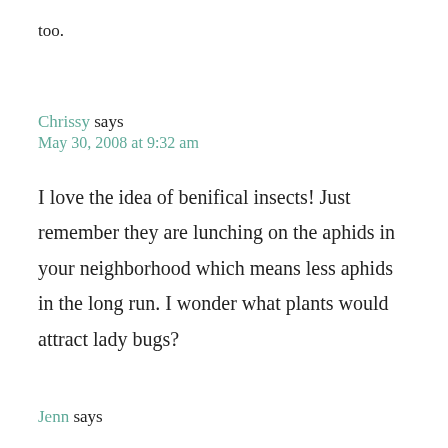too.
Chrissy says
May 30, 2008 at 9:32 am
I love the idea of benifical insects! Just remember they are lunching on the aphids in your neighborhood which means less aphids in the long run. I wonder what plants would attract lady bugs?
Jenn says